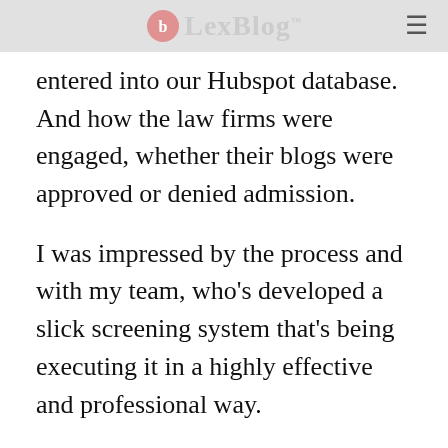LexBlog
entered into our Hubspot database. And how the law firms were engaged, whether their blogs were approved or denied admission.
I was impressed by the process and with my team, who’s developed a slick screening system that’s being executing it in a highly effective and professional way.
As the number of blogs grows and we look to further categorize blogs by subject and tag, we’ll do more development work to scale our screening operations.
If you’ve not been following along, LexBlog